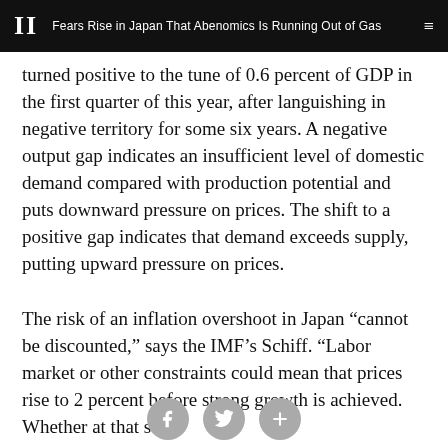II  Fears Rise in Japan That Abenomics Is Running Out of Gas
turned positive to the tune of 0.6 percent of GDP in the first quarter of this year, after languishing in negative territory for some six years. A negative output gap indicates an insufficient level of domestic demand compared with production potential and puts downward pressure on prices. The shift to a positive gap indicates that demand exceeds supply, putting upward pressure on prices.
The risk of an inflation overshoot in Japan “cannot be discounted,” says the IMF’s Schiff. “Labor market or other constraints could mean that prices rise to 2 percent before strong growth is achieved. Whether at that stage
[Figure (other): Social sharing icons: Facebook, Twitter, and plus/share button]